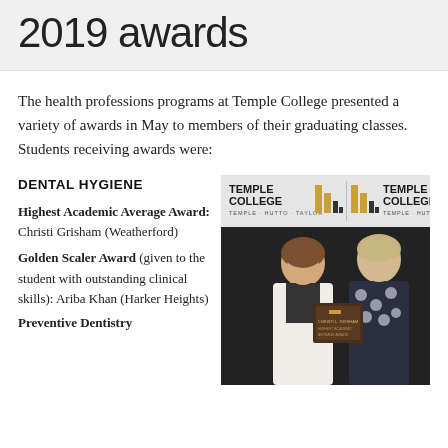2019 awards
The health professions programs at Temple College presented a variety of awards in May to members of their graduating classes. Students receiving awards were:
DENTAL HYGIENE
Highest Academic Average Award: Christi Grisham (Weatherford)
Golden Scaler Award (given to the student with outstanding clinical skills): Ariba Khan (Harker Heights)
Preventive Dentistry
[Figure (photo): Two women posing together holding a plaque award in front of a Temple College banner backdrop. The woman on the left is wearing a white jacket and glasses; the woman on the right is wearing a dark patterned top.]